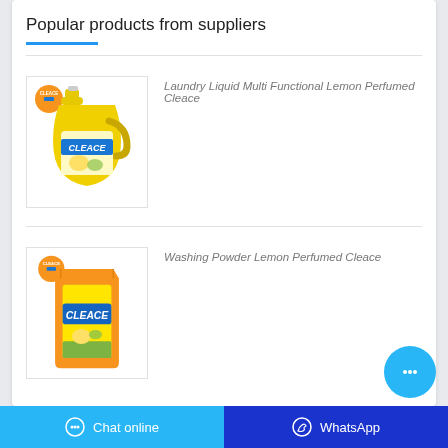Popular products from suppliers
[Figure (photo): Yellow bottle of Cleace Laundry Liquid Multi Functional Lemon Perfumed with orange Cleace logo]
Laundry Liquid Multi Functional Lemon Perfumed Cleace
[Figure (photo): Yellow/green bag of Cleace Washing Powder Lemon Perfumed with orange Cleace logo]
Washing Powder Lemon Perfumed Cleace
Chat online   WhatsApp